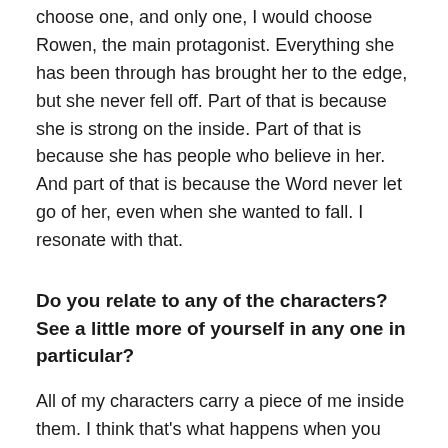choose one, and only one, I would choose Rowen, the main protagonist. Everything she has been through has brought her to the edge, but she never fell off. Part of that is because she is strong on the inside. Part of that is because she has people who believe in her. And part of that is because the Word never let go of her, even when she wanted to fall. I resonate with that.
Do you relate to any of the characters? See a little more of yourself in any one in particular?
All of my characters carry a piece of me inside them. I think that's what happens when you write your heart and soul into your story. Rowen encompasses my faith and fears, Lore my belief in right and wrong, Caleb my passion, and Nierne my questions about God.